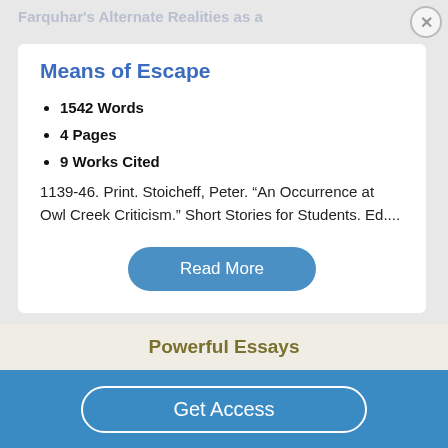Farquhar's Alternate Realities as a
Means of Escape
1542 Words
4 Pages
9 Works Cited
1139-46. Print. Stoicheff, Peter. “An Occurrence at Owl Creek Criticism.” Short Stories for Students. Ed....
Read More
Powerful Essays
Get Access